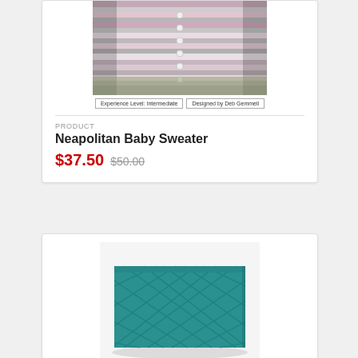[Figure (photo): Photo of a striped pink, white, and gray baby sweater with buttons, shown on a child. Below the photo are two badges: 'Experience Level: Intermediate' and 'Designed by Deb Gemmell'.]
Experience Level: Intermediate | Designed by Deb Gemmell
PRODUCT
Neapolitan Baby Sweater
$37.50 $50.00
[Figure (photo): Photo of a teal/turquoise knitted blanket with a diamond lattice pattern, folded and displayed on a white background.]